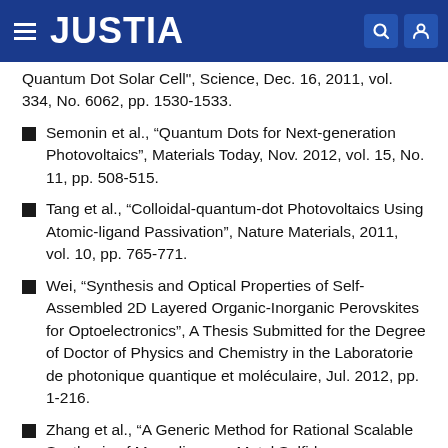JUSTIA
Quantum Dot Solar Cell", Science, Dec. 16, 2011, vol. 334, No. 6062, pp. 1530-1533.
Semonin et al., “Quantum Dots for Next-generation Photovoltaics”, Materials Today, Nov. 2012, vol. 15, No. 11, pp. 508-515.
Tang et al., “Colloidal-quantum-dot Photovoltaics Using Atomic-ligand Passivation”, Nature Materials, 2011, vol. 10, pp. 765-771.
Wei, “Synthesis and Optical Properties of Self-Assembled 2D Layered Organic-Inorganic Perovskites for Optoelectronics”, A Thesis Submitted for the Degree of Doctor of Physics and Chemistry in the Laboratorie de photonique quantique et moléculaire, Jul. 2012, pp. 1-216.
Zhang et al., “A Generic Method for Rational Scalable Synthesis of Monodisperse Metal Sulfide Nanocrystals”, Nano Letters, 2013, vol. 13, No. 11